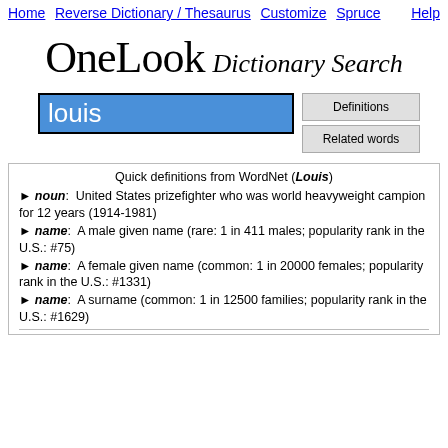Home  Reverse Dictionary / Thesaurus  Customize  Spruce  Help
OneLook Dictionary Search
louis [search input]
Quick definitions from WordNet (Louis)
► noun:  United States prizefighter who was world heavyweight campion for 12 years (1914-1981)
► name:  A male given name (rare: 1 in 411 males; popularity rank in the U.S.: #75)
► name:  A female given name (common: 1 in 20000 females; popularity rank in the U.S.: #1331)
► name:  A surname (common: 1 in 12500 families; popularity rank in the U.S.: #1629)